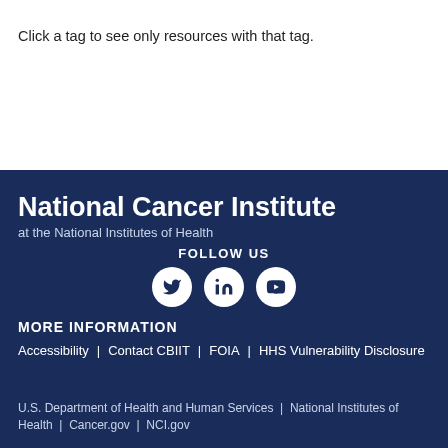Click a tag to see only resources with that tag.
National Cancer Institute
at the National Institutes of Health
FOLLOW US
MORE INFORMATION
Accessibility | Contact CBIIT | FOIA | HHS Vulnerability Disclosure
U.S. Department of Health and Human Services | National Institutes of Health